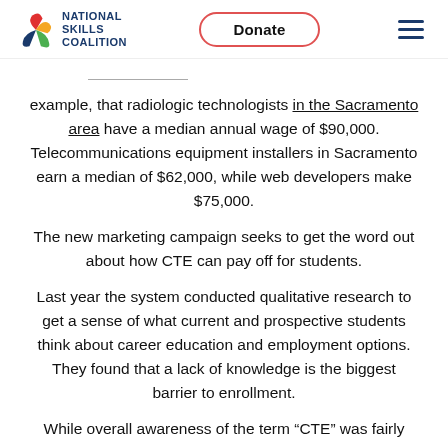National Skills Coalition | Donate | [menu]
example, that radiologic technologists in the Sacramento area have a median annual wage of $90,000. Telecommunications equipment installers in Sacramento earn a median of $62,000, while web developers make $75,000.
The new marketing campaign seeks to get the word out about how CTE can pay off for students.
Last year the system conducted qualitative research to get a sense of what current and prospective students think about career education and employment options. They found that a lack of knowledge is the biggest barrier to enrollment.
While overall awareness of the term “CTE” was fairly